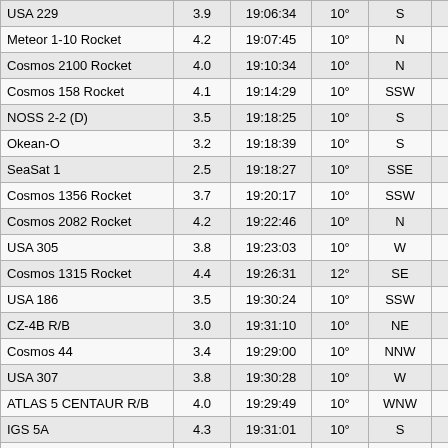| Name | Mag | Time | Elev | Dir | End |
| --- | --- | --- | --- | --- | --- |
| USA 229 | 3.9 | 19:06:34 | 10° | S | 19:12:23 |
| Meteor 1-10 Rocket | 4.2 | 19:07:45 | 10° | N | 19:13:20 |
| Cosmos 2100 Rocket | 4.0 | 19:10:34 | 10° | N | 19:16:45 |
| Cosmos 158 Rocket | 4.1 | 19:14:29 | 10° | SSW | 19:19:54 |
| NOSS 2-2 (D) | 3.5 | 19:18:25 | 10° | S | 19:21:27 |
| Okean-O | 3.2 | 19:18:39 | 10° | S | 19:23:02 |
| SeaSat 1 | 2.5 | 19:18:27 | 10° | SSE | 19:23:23 |
| Cosmos 1356 Rocket | 3.7 | 19:20:17 | 10° | SSW | 19:24:31 |
| Cosmos 2082 Rocket | 4.2 | 19:22:46 | 10° | N | 19:26:14 |
| USA 305 | 3.8 | 19:23:03 | 10° | W | 19:27:03 |
| Cosmos 1315 Rocket | 4.4 | 19:26:31 | 12° | SE | 19:28:44 |
| USA 186 | 3.5 | 19:30:24 | 10° | SSW | 19:32:34 |
| CZ-4B R/B | 3.0 | 19:31:10 | 10° | NE | 19:33:10 |
| Cosmos 44 | 3.4 | 19:29:00 | 10° | NNW | 19:33:18 |
| USA 307 | 3.8 | 19:30:28 | 10° | W | 19:34:29 |
| ATLAS 5 CENTAUR R/B | 4.0 | 19:29:49 | 10° | WNW | 19:34:34 |
| IGS 5A | 4.3 | 19:31:01 | 10° | S | 19:35:01 |
| Okean O Rocket | 4.5 | 19:32:23 | 10° | SW | 19:35:07 |
| SL-19 R/B | 4.5 | 19:29:32 | 10° | NNE | 19:35:10 |
| Cosmos 1602 | 4.4 | 19:31:49 | 10° | SSE | 19:35:21 |
| Cosmos 1844 | 3.7 | 19:30:27 | 10° | SSW | 19:36:11 |
| Cosmos 1000 Rocket | 4.5 | 19:30:39 | 10° | S | 19:36:52 |